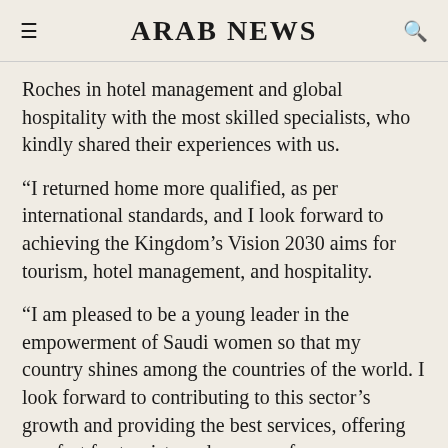ARAB NEWS
Roches in hotel management and global hospitality with the most skilled specialists, who kindly shared their experiences with us.
“I returned home more qualified, as per international standards, and I look forward to achieving the Kingdom’s Vision 2030 aims for tourism, hotel management, and hospitality.
“I am pleased to be a young leader in the empowerment of Saudi women so that my country shines among the countries of the world. I look forward to contributing to this sector’s growth and providing the best services, offering comfort for tourists and a sense of reassurance